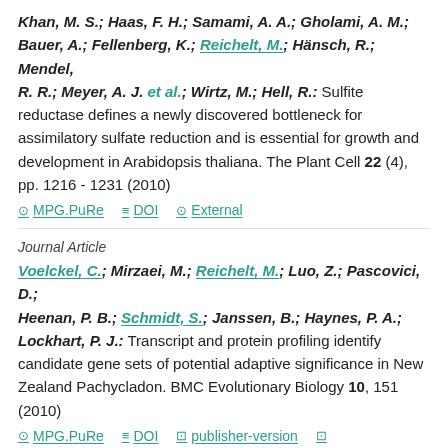Khan, M. S.; Haas, F. H.; Samami, A. A.; Gholami, A. M.; Bauer, A.; Fellenberg, K.; Reichelt, M.; Hänsch, R.; Mendel, R. R.; Meyer, A. J. et al.; Wirtz, M.; Hell, R.: Sulfite reductase defines a newly discovered bottleneck for assimilatory sulfate reduction and is essential for growth and development in Arabidopsis thaliana. The Plant Cell 22 (4), pp. 1216 - 1231 (2010)
MPG.PuRe  DOI  External
Journal Article
Voelckel, C.; Mirzaei, M.; Reichelt, M.; Luo, Z.; Pascovici, D.; Heenan, P. B.; Schmidt, S.; Janssen, B.; Haynes, P. A.; Lockhart, P. J.: Transcript and protein profiling identify candidate gene sets of potential adaptive significance in New Zealand Pachycladon. BMC Evolutionary Biology 10, 151 (2010)
MPG.PuRe  DOI  publisher-version